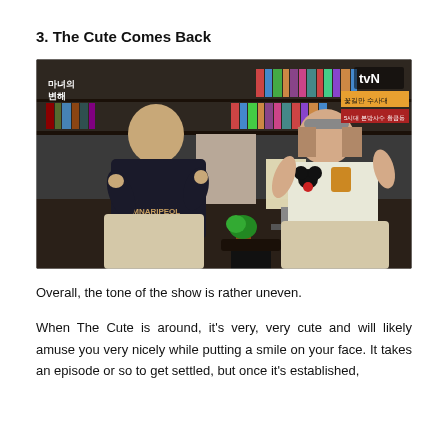3. The Cute Comes Back
[Figure (photo): Two people sitting in chairs in a room with bookshelves, both appear to be dancing or moving energetically. A tvN broadcast watermark is visible in the top right corner. Korean text overlays visible in top left and top right.]
Overall, the tone of the show is rather uneven.
When The Cute is around, it's very, very cute and will likely amuse you very nicely while putting a smile on your face. It takes an episode or so to get settled, but once it's established,